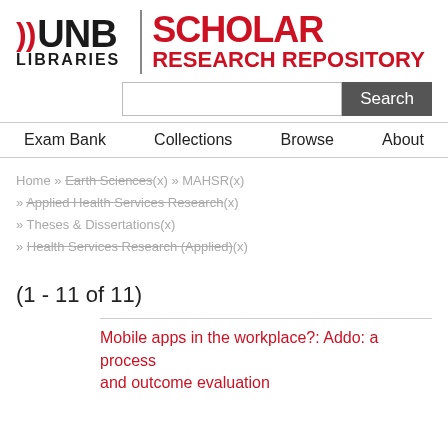[Figure (logo): UNB Libraries Scholar Research Repository logo with red flame icon and bold text]
Search
Exam Bank   Collections   Browse   About
Home » Earth Sciences(x) » MAHSR(x) » Applied Health Services Research(x) » Theses & Dissertations(x) » Health Services Research (Applied)(x)
(1 - 11 of 11)
Mobile apps in the workplace?: Addo: a process and outcome evaluation